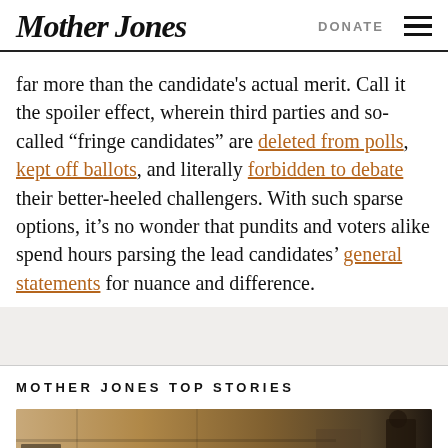Mother Jones | DONATE
far more than the candidate's actual merit. Call it the spoiler effect, wherein third parties and so-called “fringe candidates” are deleted from polls, kept off ballots, and literally forbidden to debate their better-heeled challengers. With such sparse options, it’s no wonder that pundits and voters alike spend hours parsing the lead candidates’ general statements for nuance and difference.
MOTHER JONES TOP STORIES
[Figure (photo): A photo showing what appears to be an indoor scene with wooden furniture, shelving, and at least one person partially visible on the right side.]